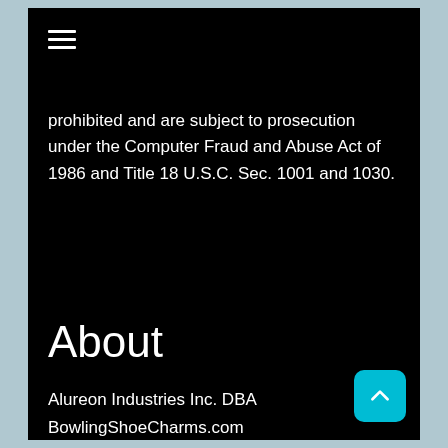[Figure (other): Hamburger menu icon (three horizontal white lines) in top left corner]
prohibited and are subject to prosecution under the Computer Fraud and Abuse Act of 1986 and Title 18 U.S.C. Sec. 1001 and 1030.
About
Alureon Industries Inc. DBA BowlingShoeCharms.com
63 Merganser Way
Woodbine, GA 31569 United States
+1-912-729-7624